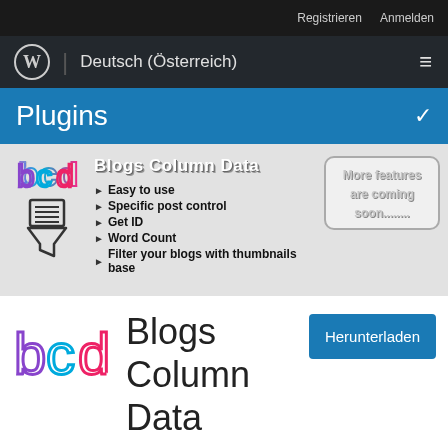Registrieren  Anmelden
Deutsch (Österreich)
Plugins
[Figure (screenshot): Blogs Column Data plugin banner with bcd logo, filter icon, feature list: Easy to use, Specific post control, Get ID, Word Count, Filter your blogs with thumbnails base, and 'More features are coming soon........' badge]
[Figure (logo): BCD (Blogs Column Data) colorful logo — large version]
Blogs Column Data
Herunterladen